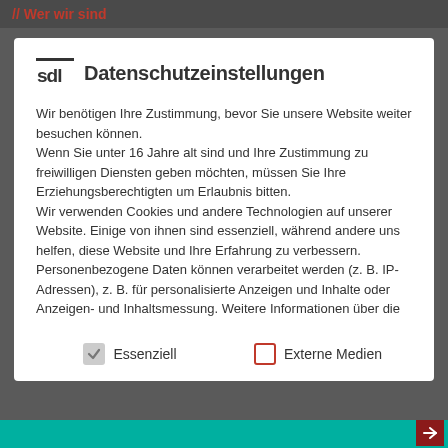// Wer wir sind
sdl Datenschutzeinstellungen
Wir benötigen Ihre Zustimmung, bevor Sie unsere Website weiter besuchen können.
Wenn Sie unter 16 Jahre alt sind und Ihre Zustimmung zu freiwilligen Diensten geben möchten, müssen Sie Ihre Erziehungsberechtigten um Erlaubnis bitten.
Wir verwenden Cookies und andere Technologien auf unserer Website. Einige von ihnen sind essenziell, während andere uns helfen, diese Website und Ihre Erfahrung zu verbessern. Personenbezogene Daten können verarbeitet werden (z. B. IP-Adressen), z. B. für personalisierte Anzeigen und Inhalte oder Anzeigen- und Inhaltsmessung. Weitere Informationen über die
Essenziell
Externe Medien